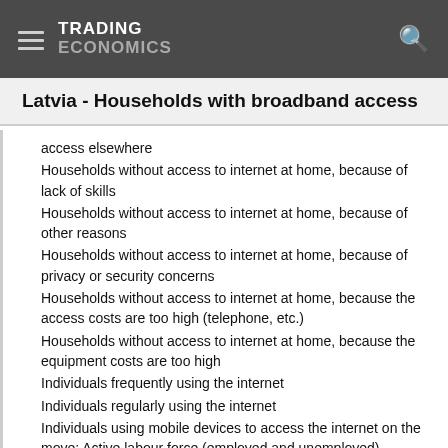TRADING ECONOMICS
Latvia - Households with broadband access
access elsewhere
Households without access to internet at home, because of lack of skills
Households without access to internet at home, because of other reasons
Households without access to internet at home, because of privacy or security concerns
Households without access to internet at home, because the access costs are too high (telephone, etc.)
Households without access to internet at home, because the equipment costs are too high
Individuals frequently using the internet
Individuals regularly using the internet
Individuals using mobile devices to access the internet on the move: Active labour force (employed and unemployed)
Individuals using mobile devices to access the internet on the move: All Individuals